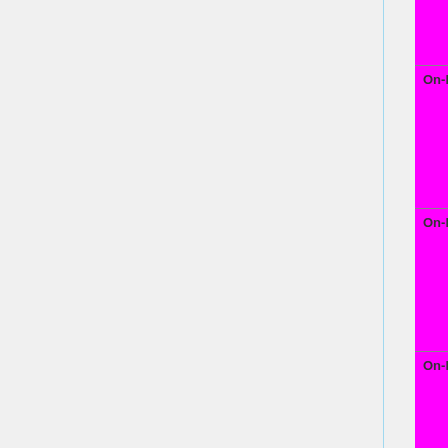| Feature | Status |
| --- | --- |
|  | | N/A=lightgray yellow }}" | |
| On-board VGA | OK=lime | TODO=red | No=red | WIP=orange | Untested=yellow | N/A=lightgray yellow }}" | N/A= |
| On-board Ethernet | OK=lime | TODO=red | No=red | WIP=orange | Untested=yellow | N/A=lightgray yellow }}" | |
| On-board Audio | OK=lime | TODO=red | No=red | WIP=orange | Untested=yellow | N/A=lightgray yellow }}" | W |